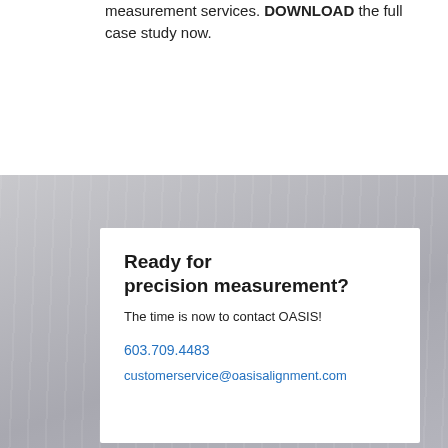measurement services. DOWNLOAD the full case study now.
[Figure (photo): Gray metallic textured background with vertical streaks, used as backdrop for a white contact card.]
Ready for precision measurement?
The time is now to contact OASIS!
603.709.4483
customerservice@oasisalignment.com